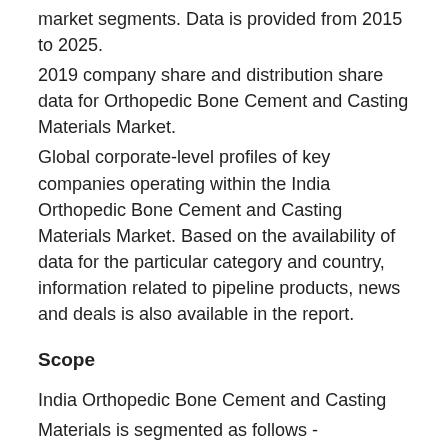market segments. Data is provided from 2015 to 2025.
2019 company share and distribution share data for Orthopedic Bone Cement and Casting Materials Market.
Global corporate-level profiles of key companies operating within the India Orthopedic Bone Cement and Casting Materials Market. Based on the availability of data for the particular category and country, information related to pipeline products, news and deals is also available in the report.
Scope
India Orthopedic Bone Cement and Casting Materials is segmented as follows -
Bone Cement